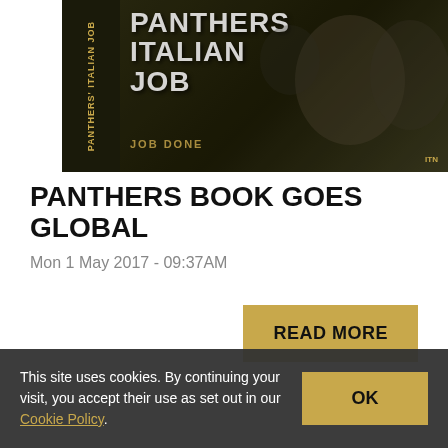[Figure (photo): Book cover for 'Panthers Italian Job' showing hockey players' faces on a dark gold/black background with book spine visible on the left side. Text on cover reads 'PANTHERS ITALIAN JOB' and 'JOB DONE'.]
PANTHERS BOOK GOES GLOBAL
Mon 1 May 2017 - 09:37AM
READ MORE
This site uses cookies. By continuing your visit, you accept their use as set out in our Cookie Policy.
OK